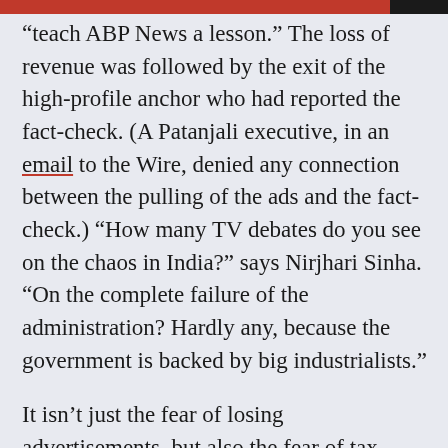“teach ABP News a lesson.” The loss of revenue was followed by the exit of the high-profile anchor who had reported the fact-check. (A Patanjali executive, in an email to the Wire, denied any connection between the pulling of the ads and the fact-check.) “How many TV debates do you see on the chaos in India?” says Nirjhari Sinha. “On the complete failure of the administration? Hardly any, because the government is backed by big industrialists.”
It isn’t just the fear of losing advertisements, but also the fear of tax raids, that hangs heavy over India’s media houses. Nirjhari Sinha uses the Hindi phrase “cham, dham, dand, khad” to